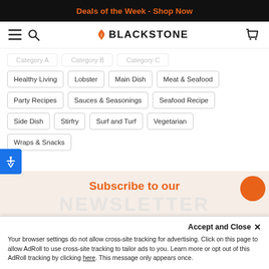Deals of the Week - Shop Now
[Figure (logo): Blackstone logo with flame icon, hamburger menu icon, search icon, and cart icon navigation bar]
Healthy Living
Lobster
Main Dish
Meat & Seafood
Party Recipes
Sauces & Seasonings
Seafood Recipe
Side Dish
Stirfry
Surf and Turf
Vegetarian
Wraps & Snacks
Subscribe to our
NEWSLETTER
Accept and Close ✕
Your browser settings do not allow cross-site tracking for advertising. Click on this page to allow AdRoll to use cross-site tracking to tailor ads to you. Learn more or opt out of this AdRoll tracking by clicking here. This message only appears once.